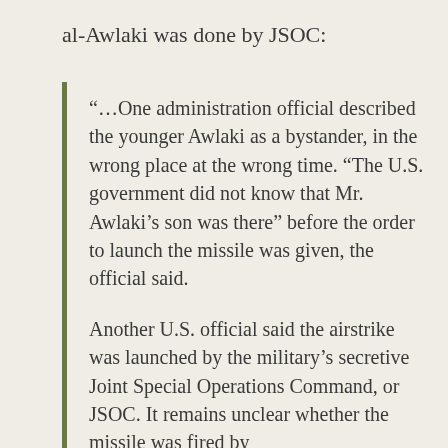al-Awlaki was done by JSOC:
“…One administration official described the younger Awlaki as a bystander, in the wrong place at the wrong time. “The U.S. government did not know that Mr. Awlaki’s son was there” before the order to launch the missile was given, the official said.

Another U.S. official said the airstrike was launched by the military’s secretive Joint Special Operations Command, or JSOC. It remains unclear whether the missile was fired by